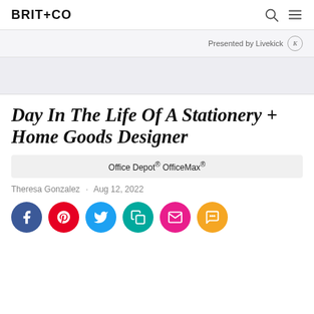BRIT+CO
Presented by Livekick
Day In The Life Of A Stationery + Home Goods Designer
Office Depot® OfficeMax®
Theresa Gonzalez · Aug 12, 2022